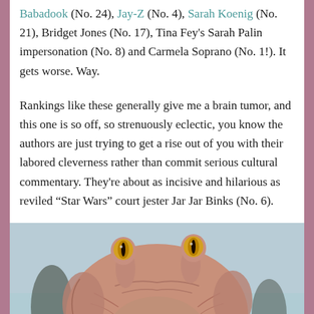Babadook (No. 24), Jay-Z (No. 4), Sarah Koenig (No. 21), Bridget Jones (No. 17), Tina Fey's Sarah Palin impersonation (No. 8) and Carmela Soprano (No. 1!). It gets worse. Way.
Rankings like these generally give me a brain tumor, and this one is so off, so strenuously eclectic, you know the authors are just trying to get a rise out of you with their labored cleverness rather than commit serious cultural commentary. They're about as incisive and hilarious as reviled "Star Wars" court jester Jar Jar Binks (No. 6).
[Figure (photo): Close-up photo of Jar Jar Binks character from Star Wars, showing the alien's face with large yellow eyes with vertical pupils, wrinkled pinkish-tan amphibious skin, and elongated head appendages, against a light blue/sky background.]